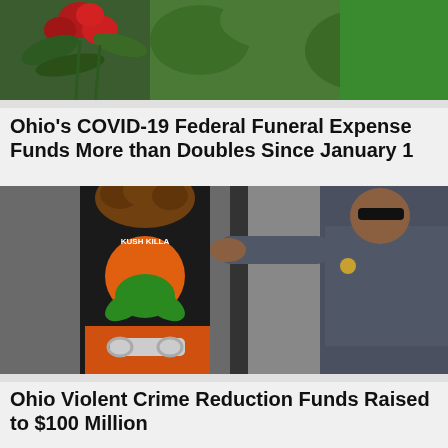[Figure (photo): Flowers and greenery, partial image at top of page]
Ohio's COVID-19 Federal Funeral Expense Funds More than Doubles Since January 1
[Figure (photo): Person in handcuffs wearing a black t-shirt with orange cannabis graphic and orange pants, being escorted by a uniformed police officer]
Ohio Violent Crime Reduction Funds Raised to $100 Million
[Figure (photo): Partial image at bottom of page, person partially visible]